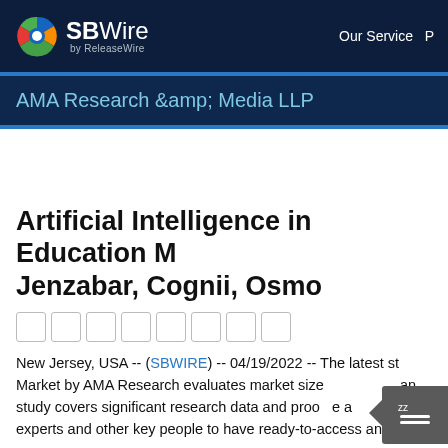SBWire by ReleaseWire — Our Service
AMA Research &amp; Media LLP
Artificial Intelligence in Education M… Jenzabar, Cognii, Osmo
New Jersey, USA -- (SBWIRE) -- 04/19/2022 -- The latest st… Market by AMA Research evaluates market size… an… study covers significant research data and proo… e a… experts and other key people to have ready-to-access an…